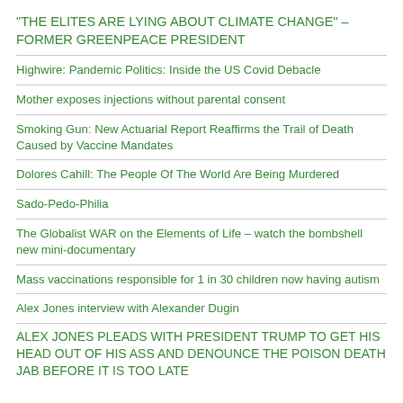"THE ELITES ARE LYING ABOUT CLIMATE CHANGE" – FORMER GREENPEACE PRESIDENT
Highwire: Pandemic Politics: Inside the US Covid Debacle
Mother exposes injections without parental consent
Smoking Gun: New Actuarial Report Reaffirms the Trail of Death Caused by Vaccine Mandates
Dolores Cahill: The People Of The World Are Being Murdered
Sado-Pedo-Philia
The Globalist WAR on the Elements of Life – watch the bombshell new mini-documentary
Mass vaccinations responsible for 1 in 30 children now having autism
Alex Jones interview with Alexander Dugin
ALEX JONES PLEADS WITH PRESIDENT TRUMP TO GET HIS HEAD OUT OF HIS ASS AND DENOUNCE THE POISON DEATH JAB BEFORE IT IS TOO LATE